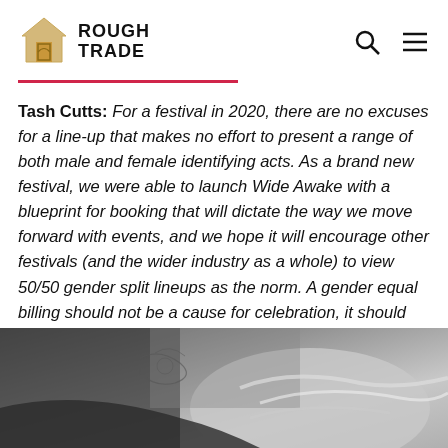Rough Trade
Tash Cutts: For a festival in 2020, there are no excuses for a line-up that makes no effort to present a range of both male and female identifying acts. As a brand new festival, we were able to launch Wide Awake with a blueprint for booking that will dictate the way we move forward with events, and we hope it will encourage other festivals (and the wider industry as a whole) to view 50/50 gender split lineups as the norm. A gender equal billing should not be a cause for celebration, it should just be considered the baseline.
[Figure (photo): Black and white photograph showing a close-up of a person's back/shoulder with tattoos and light-coloured hair, taken from above.]